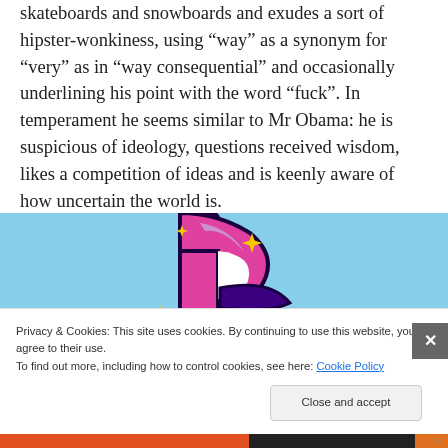skateboards and snowboards and exudes a sort of hipster-wonkiness, using “way” as a synonym for “very” as in “way consequential” and occasionally underlining his point with the word “fuck”. In temperament he seems similar to Mr Obama: he is suspicious of ideology, questions received wisdom, likes a competition of ideas and is keenly aware of how uncertain the world is.
[Figure (illustration): Partial illustration showing a colorful cartoon figure/logo on a light blue sky background with yellow sparkle stars and a white curved ground at the bottom.]
Privacy & Cookies: This site uses cookies. By continuing to use this website, you agree to their use. To find out more, including how to control cookies, see here: Cookie Policy